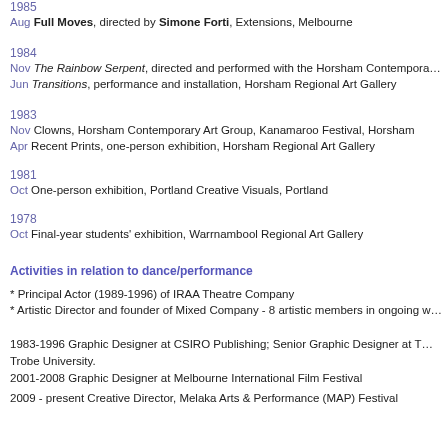1985
Aug Full Moves, directed by Simone Forti, Extensions, Melbourne
1984
Nov The Rainbow Serpent, directed and performed with the Horsham Contemporary
Jun Transitions, performance and installation, Horsham Regional Art Gallery
1983
Nov Clowns, Horsham Contemporary Art Group, Kanamaroo Festival, Horsham
Apr Recent Prints, one-person exhibition, Horsham Regional Art Gallery
1981
Oct One-person exhibition, Portland Creative Visuals, Portland
1978
Oct Final-year students' exhibition, Warrnambool Regional Art Gallery
Activities in relation to dance/performance
* Principal Actor (1989-1996) of IRAA Theatre Company
* Artistic Director and founder of Mixed Company - 8 artistic members in ongoing w...
1983-1996 Graphic Designer at CSIRO Publishing; Senior Graphic Designer at T... Trobe University.
2001-2008 Graphic Designer at Melbourne International Film Festival
2009 - present Creative Director, Melaka Arts & Performance (MAP) Festival